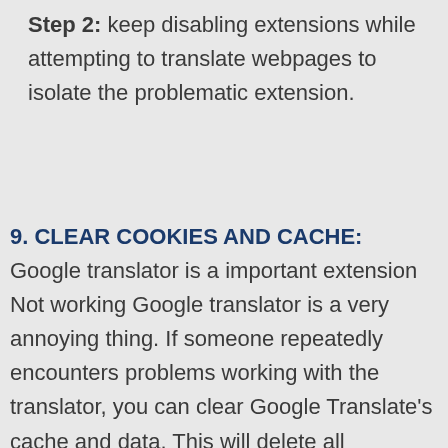Step 2: keep disabling extensions while attempting to translate webpages to isolate the problematic extension.
9. CLEAR COOKIES AND CACHE: Google translator is a important extension Not working Google translator is a very annoying thing. If someone repeatedly encounters problems working with the translator, you can clear Google Translate's cache and data. This will delete all downloaded languages. solve the problem. Follow the steps below to clear cache and data: